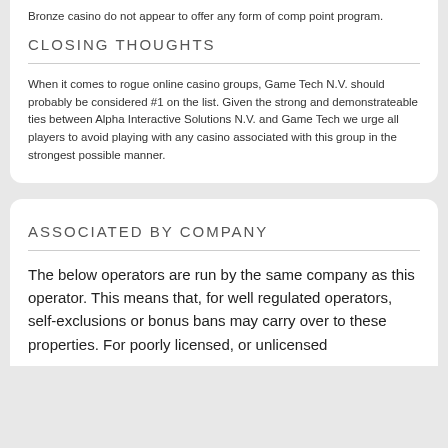Bronze casino do not appear to offer any form of comp point program.
CLOSING THOUGHTS
When it comes to rogue online casino groups, Game Tech N.V. should probably be considered #1 on the list. Given the strong and demonstrateable ties between Alpha Interactive Solutions N.V. and Game Tech we urge all players to avoid playing with any casino associated with this group in the strongest possible manner.
ASSOCIATED BY COMPANY
The below operators are run by the same company as this operator. This means that, for well regulated operators, self-exclusions or bonus bans may carry over to these properties. For poorly licensed, or unlicensed